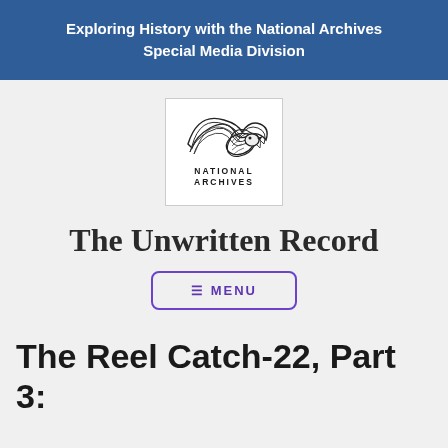Exploring History with the National Archives Special Media Division
[Figure (logo): National Archives logo — an eagle with a wave crest above the text NATIONAL ARCHIVES]
The Unwritten Record
≡ MENU
The Reel Catch-22, Part 3: